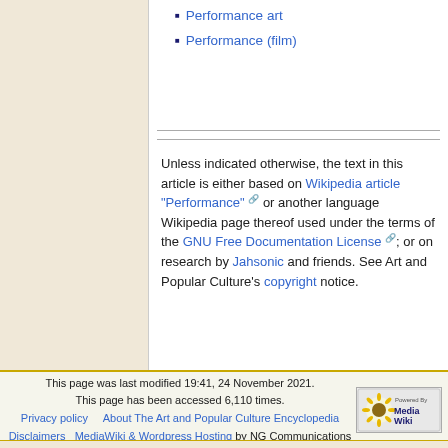Performance art
Performance (film)
Unless indicated otherwise, the text in this article is either based on Wikipedia article "Performance" or another language Wikipedia page thereof used under the terms of the GNU Free Documentation License; or on research by Jahsonic and friends. See Art and Popular Culture's copyright notice.
This page was last modified 19:41, 24 November 2021. This page has been accessed 6,110 times. Privacy policy | About The Art and Popular Culture Encyclopedia | Disclaimers | MediaWiki & Wordpress Hosting by NG Communications